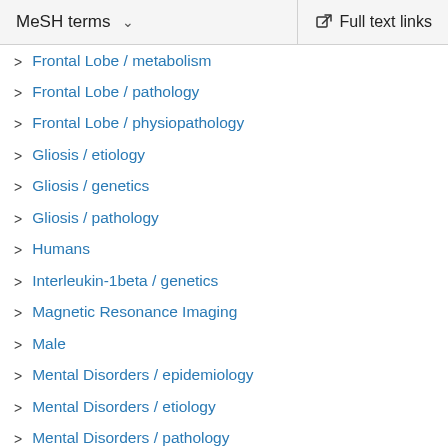MeSH terms   Full text links
Frontal Lobe / metabolism
Frontal Lobe / pathology
Frontal Lobe / physiopathology
Gliosis / etiology
Gliosis / genetics
Gliosis / pathology
Humans
Interleukin-1beta / genetics
Magnetic Resonance Imaging
Male
Mental Disorders / epidemiology
Mental Disorders / etiology
Mental Disorders / pathology
Mexico / epidemiology
Neuropsychological Tests / statistics & numerical data
Particulate Matter / analysis